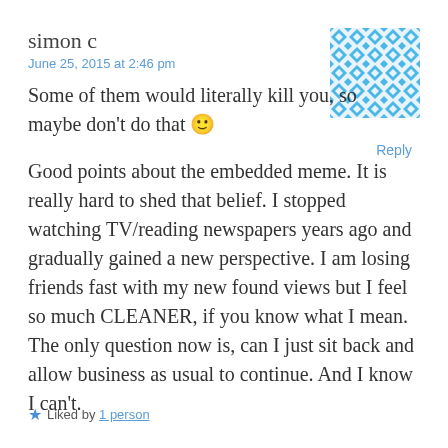simon c
June 25, 2015 at 2:46 pm
[Figure (illustration): Geometric tiled avatar pattern in blue and white diamond/square shapes]
Some of them would literally kill you, so maybe don't do that 🙂
Reply
Good points about the embedded meme. It is really hard to shed that belief. I stopped watching TV/reading newspapers years ago and gradually gained a new perspective. I am losing friends fast with my new found views but I feel so much CLEANER, if you know what I mean. The only question now is, can I just sit back and allow business as usual to continue. And I know I can't.
★ Liked by 1 person